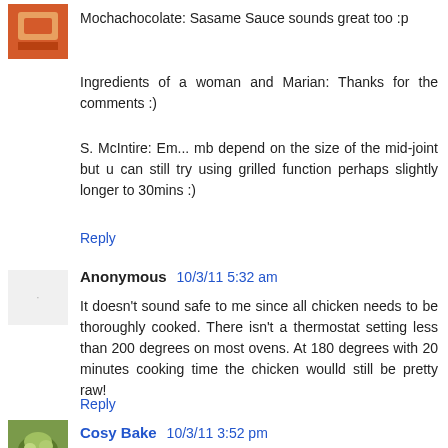Mochachocolate: Sasame Sauce sounds great too :p
Ingredients of a woman and Marian: Thanks for the comments :)
S. McIntire: Em... mb depend on the size of the mid-joint but u can still try using grilled function perhaps slightly longer to 30mins :)
Reply
Anonymous 10/3/11 5:32 am
It doesn't sound safe to me since all chicken needs to be thoroughly cooked. There isn't a thermostat setting less than 200 degrees on most ovens. At 180 degrees with 20 minutes cooking time the chicken woulld still be pretty raw!
Reply
Cosy Bake 10/3/11 3:52 pm